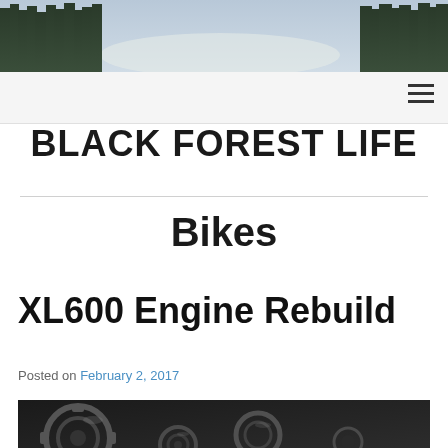[Figure (photo): Landscape photo header showing pine trees and a snowy or bright clearing in the background, muted natural tones]
BLACK FOREST LIFE
Bikes
XL600 Engine Rebuild
Posted on February 2, 2017
[Figure (photo): Close-up photo of motorcycle engine gears and cogs, dark metallic tones]